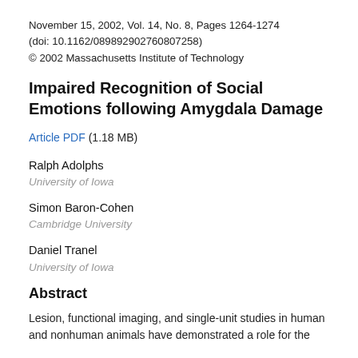November 15, 2002, Vol. 14, No. 8, Pages 1264-1274
(doi: 10.1162/089892902760807258)
© 2002 Massachusetts Institute of Technology
Impaired Recognition of Social Emotions following Amygdala Damage
Article PDF (1.18 MB)
Ralph Adolphs
University of Iowa
Simon Baron-Cohen
Cambridge University
Daniel Tranel
University of Iowa
Abstract
Lesion, functional imaging, and single-unit studies in human and nonhuman animals have demonstrated a role for the